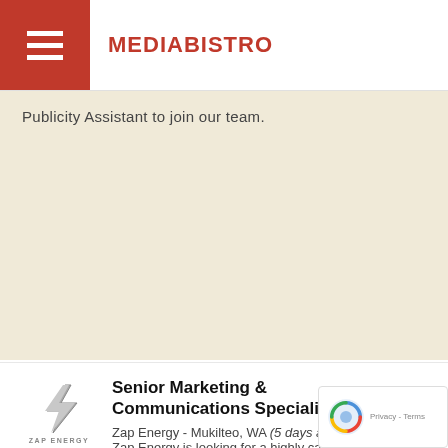MEDIABISTRO
Publicity Assistant to join our team.
[Figure (logo): Zap Energy logo with lightning bolt icon and text 'ZAP ENERGY']
Senior Marketing & Communications Specialist
Zap Energy - Mukilteo, WA (5 days ago)
Zap Energy is looking for a highly capable and savvy communicator to inform and excite audiences about our mission to power the planet.
[Figure (logo): Springer Nature logo in red text inside rounded black border box]
Director of Marketing, Scientific American